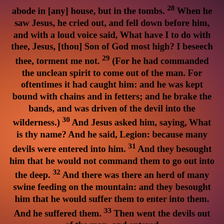abode in [any] house, but in the tombs. 28 When he saw Jesus, he cried out, and fell down before him, and with a loud voice said, What have I to do with thee, Jesus, [thou] Son of God most high? I beseech thee, torment me not. 29 (For he had commanded the unclean spirit to come out of the man. For oftentimes it had caught him: and he was kept bound with chains and in fetters; and he brake the bands, and was driven of the devil into the wilderness.) 30 And Jesus asked him, saying, What is thy name? And he said, Legion: because many devils were entered into him. 31 And they besought him that he would not command them to go out into the deep. 32 And there was there an herd of many swine feeding on the mountain: and they besought him that he would suffer them to enter into them. And he suffered them. 33 Then went the devils out of the man, and entered